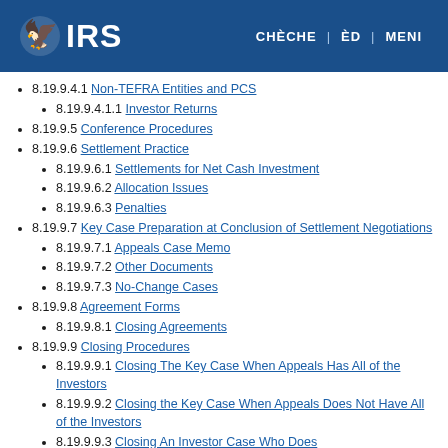IRS | CHÈCHE | ÈD | MENI
8.19.9.4.1 Non-TEFRA Entities and PCS
8.19.9.4.1.1 Investor Returns
8.19.9.5 Conference Procedures
8.19.9.6 Settlement Practice
8.19.9.6.1 Settlements for Net Cash Investment
8.19.9.6.2 Allocation Issues
8.19.9.6.3 Penalties
8.19.9.7 Key Case Preparation at Conclusion of Settlement Negotiations
8.19.9.7.1 Appeals Case Memo
8.19.9.7.2 Other Documents
8.19.9.7.3 No-Change Cases
8.19.9.8 Agreement Forms
8.19.9.8.1 Closing Agreements
8.19.9.9 Closing Procedures
8.19.9.9.1 Closing The Key Case When Appeals Has All of the Investors
8.19.9.9.2 Closing the Key Case When Appeals Does Not Have All of the Investors
8.19.9.9.3 Closing An Investor Case Who Does...